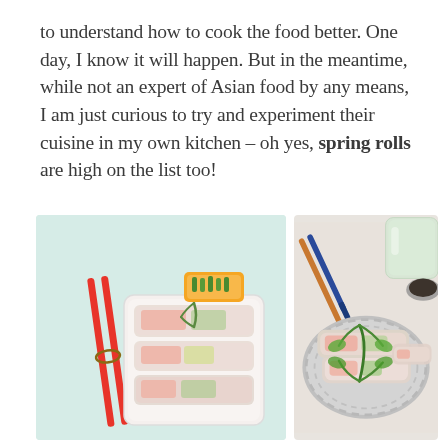to understand how to cook the food better. One day, I know it will happen. But in the meantime, while not an expert of Asian food by any means, I am just curious to try and experiment their cuisine in my own kitchen – oh yes, spring rolls are high on the list too!
[Figure (photo): Two photos side by side showing fresh spring rolls. Left photo: spring rolls arranged in a white rectangular tray with red chopsticks and a small orange container, on a light green background. Right photo: spring rolls bundled with herb leaves on a round grey plate with blue-tipped chopsticks, a glass of water, and a small dipping sauce bowl in the background.]